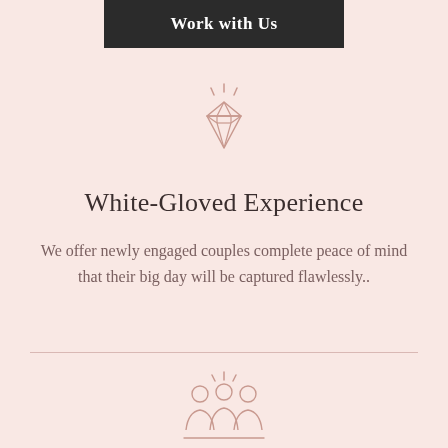Work with Us
[Figure (illustration): Diamond gem icon with sparkle lines above it, drawn in rose/mauve outline style]
White-Gloved Experience
We offer newly engaged couples complete peace of mind that their big day will be captured flawlessly..
[Figure (illustration): Group of three people / team icon drawn in rose/mauve outline style with sparkle lines above]